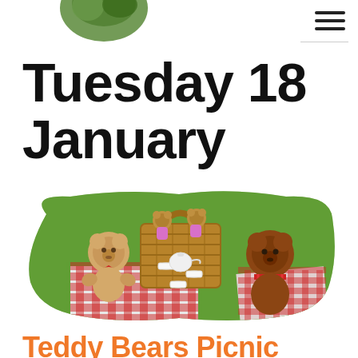Tuesday 18 January
[Figure (photo): Three teddy bears sitting on a red and white gingham picnic blanket around a wicker picnic basket, with a small white tea set arranged in front. The bears wear bow ties or scarves. Set on green grass.]
Teddy Bears Picnic